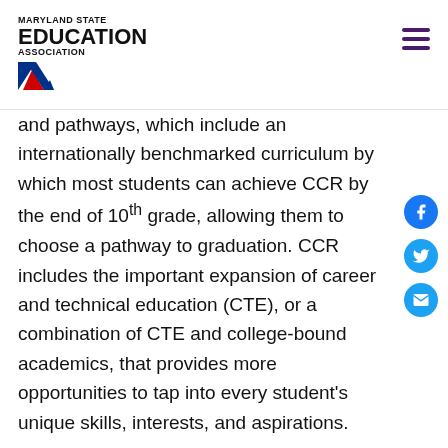MARYLAND STATE EDUCATION ASSOCIATION
and pathways, which include an internationally benchmarked curriculum by which most students can achieve CCR by the end of 10th grade, allowing them to choose a pathway to graduation. CCR includes the important expansion of career and technical education (CTE), or a combination of CTE and college-bound academics, that provides more opportunities to tap into every student's unique skills, interests, and aspirations.
If a student does not meet the CCR standard in 10th grade by achieving a score of 4 or 5 in the math and English portions of the CCR readiness assessments